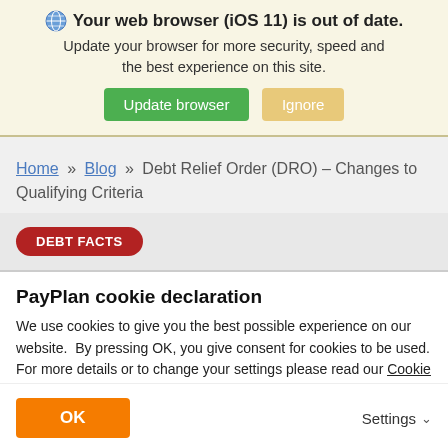[Figure (screenshot): Browser update warning banner with globe icon, 'Update browser' green button and 'Ignore' tan button on a pale yellow background.]
Home » Blog » Debt Relief Order (DRO) – Changes to Qualifying Criteria
DEBT FACTS
PayPlan cookie declaration
We use cookies to give you the best possible experience on our website.  By pressing OK, you give consent for cookies to be used. For more details or to change your settings please read our Cookie Policy.
OK
Settings